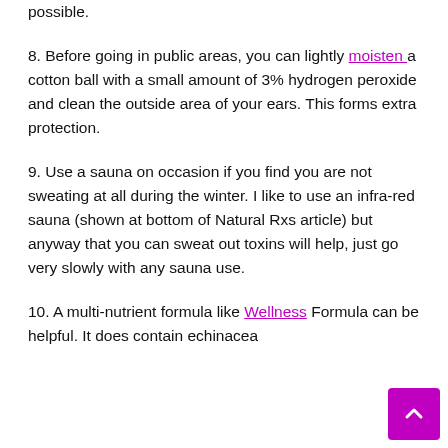possible.
8. Before going in public areas, you can lightly moisten a cotton ball with a small amount of 3% hydrogen peroxide and clean the outside area of your ears. This forms extra protection.
9. Use a sauna on occasion if you find you are not sweating at all during the winter. I like to use an infra-red sauna (shown at bottom of Natural Rxs article) but anyway that you can sweat out toxins will help, just go very slowly with any sauna use.
10. A multi-nutrient formula like Wellness Formula can be helpful. It does contain echinacea